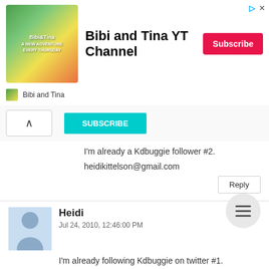[Figure (screenshot): Advertisement banner for Bibi and Tina YT Channel with subscribe button]
I'm already a Kdbuggie follower #2.
heidikittelson@gmail.com
Reply
Heidi
Jul 24, 2010, 12:46:00 PM
I'm already following Kdbuggie on twitter #1.
heidikittelson@gmail.com
Reply